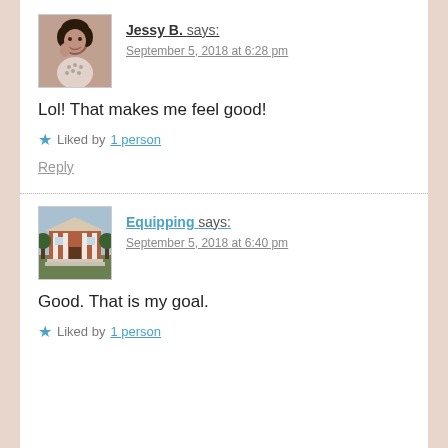[Figure (photo): Avatar photo of Jessy B., a woman smiling]
Jessy B. says:
September 5, 2018 at 6:28 pm
Lol! That makes me feel good!
★ Liked by 1 person
Reply
[Figure (photo): Avatar photo of Equipping, showing a building with white columns]
Equipping says:
September 5, 2018 at 6:40 pm
Good. That is my goal.
★ Liked by 1 person